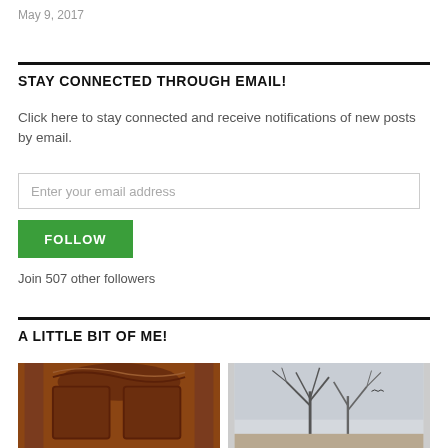May 9, 2017
STAY CONNECTED THROUGH EMAIL!
Click here to stay connected and receive notifications of new posts by email.
Enter your email address
FOLLOW
Join 507 other followers
A LITTLE BIT OF ME!
[Figure (photo): Two photos side by side: left shows a wooden arched door with brown finish, right shows bare winter trees against a grey sky]